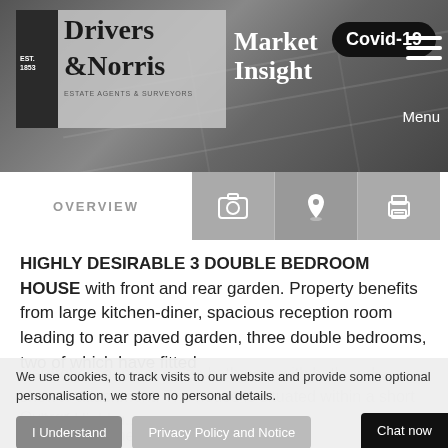[Figure (screenshot): Drivers & Norris estate agents website header with logo, Market Insight label, Covid-19 pill badge, hamburger menu, and Menu text]
[Figure (screenshot): Navigation tab bar with OVERVIEW text tab and three icon tabs (camera, location pin, printer)]
HIGHLY DESIRABLE 3 DOUBLE BEDROOM HOUSE with front and rear garden. Property benefits from large kitchen-diner, spacious reception room leading to rear paved garden, three double bedrooms, two of which have fitted wardrobes, generous size bathroom with bath and shower attachment. The house is situated within a short walk of Highbu...
Overgr...
Offered furnished and available Mid A...
We use cookies, to track visits to our website and provide some optional personalisation, we store no personal details.
I Understand
Privacy Policy and Notice
Chat now